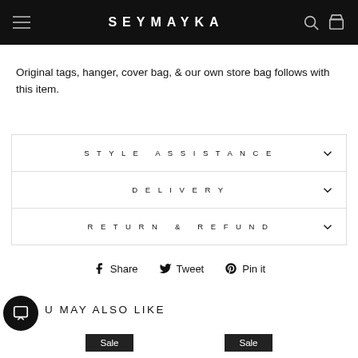SEYMAYKA
Original tags, hanger, cover bag, & our own store bag follows with this item.
STYLE ASSISTANCE
DELIVERY
RETURN & REFUND
Share  Tweet  Pin it
YOU MAY ALSO LIKE
Sale  Sale